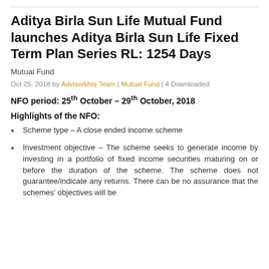Aditya Birla Sun Life Mutual Fund launches Aditya Birla Sun Life Fixed Term Plan Series RL: 1254 Days
Mutual Fund
Oct 25, 2018 by Advisorkhoj Team | Mutual Fund | 4 Downloaded
NFO period: 25th October – 29th October, 2018
Highlights of the NFO:
Scheme type – A close ended income scheme
Investment objective – The scheme seeks to generate income by investing in a portfolio of fixed income securities maturing on or before the duration of the scheme. The scheme does not guarantee/indicate any returns. There can be no assurance that the schemes' objectives will be